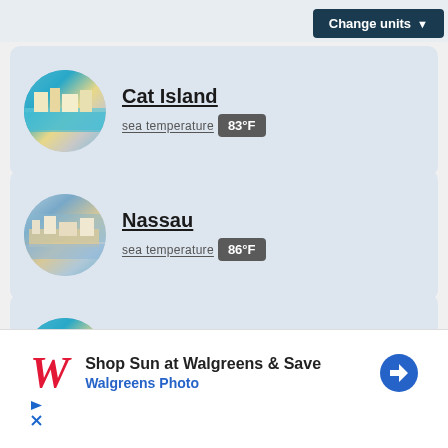[Figure (screenshot): Change units button - dark navy blue button with dropdown arrow]
[Figure (photo): Cat Island circular thumbnail photo showing turquoise water and city buildings]
Cat Island
sea temperature  83°F
[Figure (photo): Nassau circular thumbnail photo showing aerial beach and city view]
Nassau
sea temperature  86°F
[Figure (photo): Exumas circular thumbnail photo showing turquoise water and city buildings]
Exumas
sea temperature  83°F
[Figure (screenshot): Advertisement: Shop Sun at Walgreens & Save - Walgreens Photo]